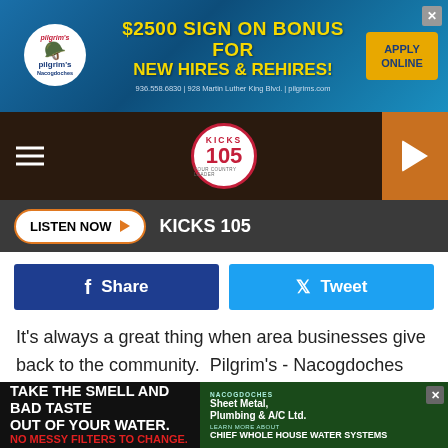[Figure (screenshot): Pilgrim's Nacogdoches advertisement banner: $2500 Sign On Bonus For New Hires & Rehires! Apply Online. 936.558.6830 | 928 Martin Luther King Blvd. | pilgrims.com]
[Figure (screenshot): KICKS 105 radio station navigation bar with hamburger menu, logo, and play button]
[Figure (screenshot): Listen Now button with KICKS 105 label on dark gray bar]
[Figure (screenshot): Facebook Share and Twitter Tweet social sharing buttons]
It's always a great thing when area businesses give back to the community.  Pilgrim's - Nacogdoches has been one of the largest contributors to the community and they proved that yet once again earlier in December.
According to a post on the City of Nacogdoches - City Government Facebook Page, Pilgrim's has made another
[Figure (screenshot): Bottom advertisement: Take The Smell And Bad Taste Out Of Your Water. No Messy Filters To Change. Nacogdoches Sheet Metal, Plumbing & A/C Ltd. Learn More About Chief Whole House Water Systems]